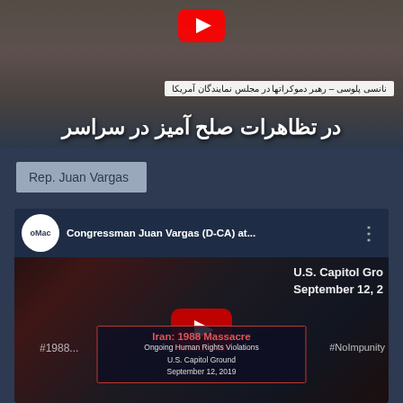[Figure (screenshot): YouTube video thumbnail showing a woman in an orange jacket with Farsi text overlay: 'نانسی پلوسی – رهبر دموکراتها در مجلس نمایندگان آمریکا' and large Farsi text 'در تظاهرات صلح آمیز در سراسر']
Rep. Juan Vargas
[Figure (screenshot): YouTube video thumbnail for 'Congressman Juan Vargas (D-CA) at... U.S. Capitol Ground September 12, 2019' with OMAC channel icon, play button, and Iran 1988 Massacre event banner at bottom. Hashtags #1989 and #NoImpunity visible.]